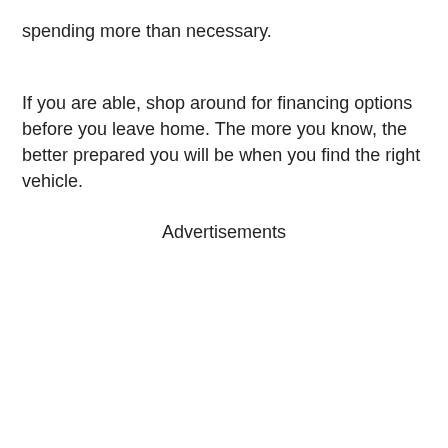spending more than necessary.
If you are able, shop around for financing options before you leave home. The more you know, the better prepared you will be when you find the right vehicle.
Advertisements